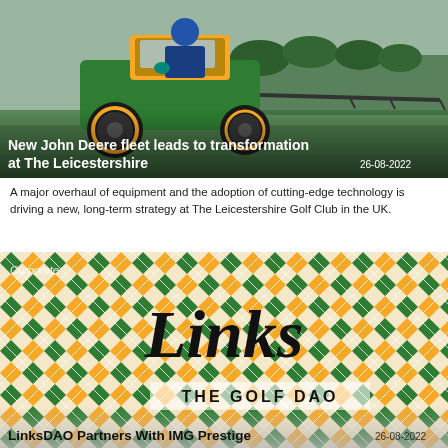[Figure (photo): A person operating a green and yellow John Deere sprayer/mowing vehicle on a golf course fairway, with trees in the background.]
New John Deere fleet leads to transformation at The Leicestershire
26-08-2022
A major overhaul of equipment and the adoption of cutting-edge technology is driving a new, long-term strategy at The Leicestershire Golf Club in the UK.
[Figure (photo): LinksDAO – The Golf DAO logo on a diamond/argyle pattern background in green, orange, and cream colors. A 'Corporate' tag is visible in the top left corner.]
LinksDAO Partners With IMG Prestige
26-08-2022